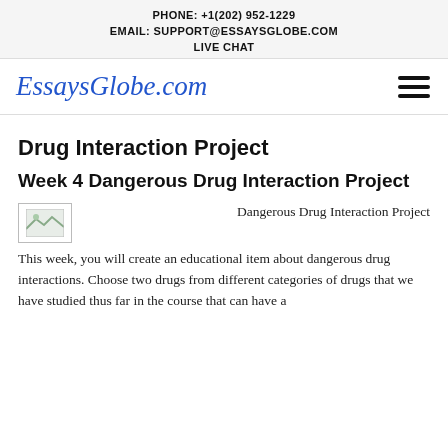PHONE: +1(202) 952-1229
EMAIL: SUPPORT@ESSAYSGLOBE.COM
LIVE CHAT
[Figure (logo): EssaysGlobe.com logo in blue italic serif font]
Drug Interaction Project
Week 4 Dangerous Drug Interaction Project
[Figure (photo): Small thumbnail image placeholder with broken image icon]
Dangerous Drug Interaction Project    This week, you will create an educational item about dangerous drug  interactions. Choose two drugs from different categories of drugs that we have studied thus far in the course that can have a